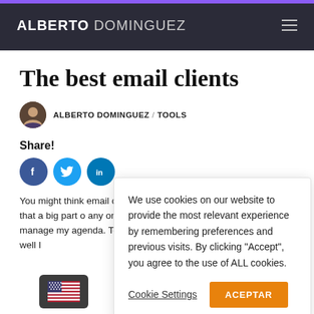ALBERTO DOMINGUEZ
The best email clients
ALBERTO DOMINGUEZ / TOOLS
Share!
[Figure (infographic): Social share icons: Facebook (blue circle), Twitter (cyan circle), LinkedIn (blue circle)]
We use cookies on our website to provide the most relevant experience by remembering preferences and previous visits. By clicking "Accept", you agree to the use of ALL cookies.
Cookie Settings   ACEPTAR
You might think email clients in that a big part o any one way, manage my agenda. To do this well I